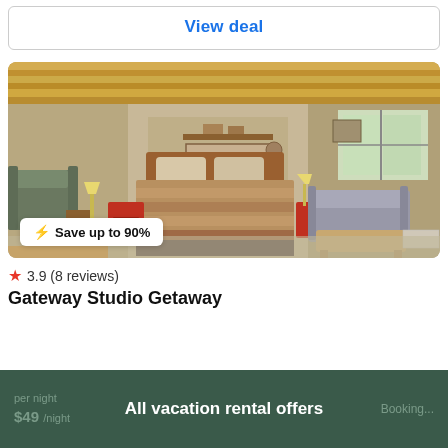View deal
[Figure (photo): Interior photo of a vacation rental studio — bedroom with wooden ceiling, queen bed with colorful quilt, red nightstands, lamps, sofa, coffee table, and large window. Badge overlay reads: Save up to 90%]
⭐ 3.9 (8 reviews)
Gateway Studio Getaway
$49 /night   All vacation rental offers   Booking...